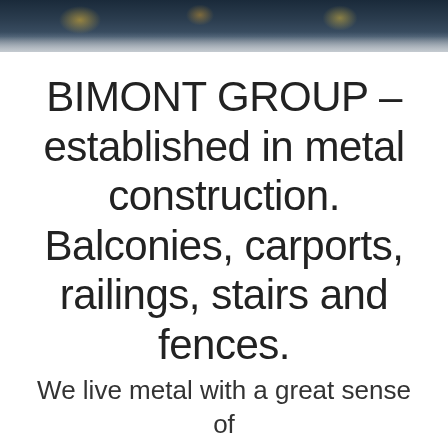[Figure (photo): Dark photo strip at top showing metalworking/welding scene with sparks and figures, partially cropped]
BIMONT GROUP – established in metal construction. Balconies, carports, railings, stairs and fences.
We live metal with a great sense of